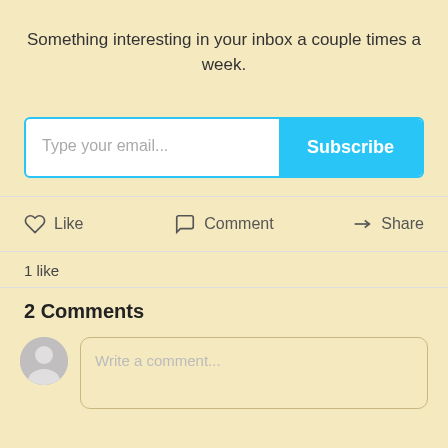Something interesting in your inbox a couple times a week.
[Figure (screenshot): Email subscription form with text input placeholder 'Type your email...' and a cyan 'Subscribe' button]
[Figure (infographic): Action bar with Like (heart icon), Comment (speech bubble icon), and Share (arrow icon) buttons]
1 like
2 Comments
[Figure (screenshot): Comment input area with user avatar and placeholder text 'Write a comment...']